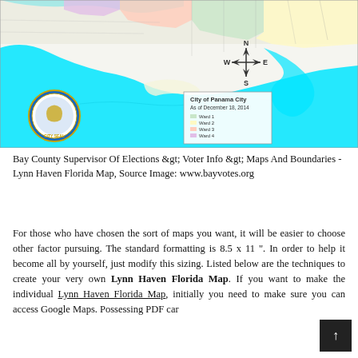[Figure (map): City of Panama City map as of December 18, 2014 showing ward boundaries in different colors over a coastal area with water bodies in cyan/turquoise. Includes a compass rose (N/S/E/W) and a city seal logo in the lower left corner.]
Bay County Supervisor Of Elections &amp;gt; Voter Info &amp;gt; Maps And Boundaries - Lynn Haven Florida Map, Source Image: www.bayvotes.org
For those who have chosen the sort of maps you want, it will be easier to choose other factor pursuing. The standard formatting is 8.5 x 11 ". In order to help it become all by yourself, just modify this sizing. Listed below are the techniques to create your very own Lynn Haven Florida Map. If you want to make the individual Lynn Haven Florida Map, initially you need to make sure you can access Google Maps. Possessing PDF car